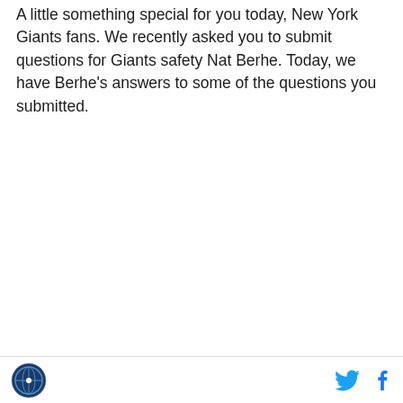A little something special for you today, New York Giants fans. We recently asked you to submit questions for Giants safety Nat Berhe. Today, we have Berhe's answers to some of the questions you submitted.
Logo and social share icons (Twitter, Facebook)